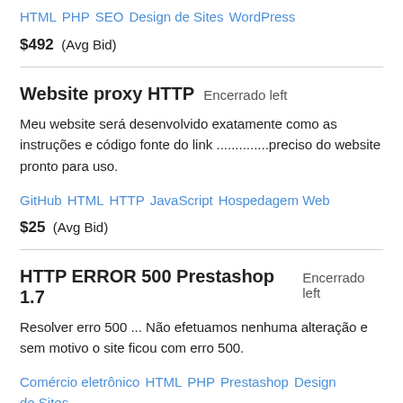HTML  PHP  SEO  Design de Sites  WordPress
$492  (Avg Bid)
Website proxy HTTP   Encerrado left
Meu website será desenvolvido exatamente como as instruções e código fonte do link ..............preciso do website pronto para uso.
GitHub  HTML  HTTP  JavaScript  Hospedagem Web
$25  (Avg Bid)
HTTP ERROR 500 Prestashop 1.7   Encerrado left
Resolver erro 500 ... Não efetuamos nenhuma alteração e sem motivo o site ficou com erro 500.
Comércio eletrônico  HTML  PHP  Prestashop  Design de Sites